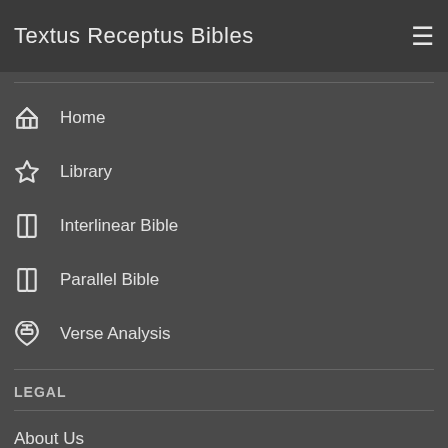Textus Receptus Bibles
Home
Library
Interlinear Bible
Parallel Bible
Verse Analysis
LEGAL
About Us
Terms of Use
Privacy Policy